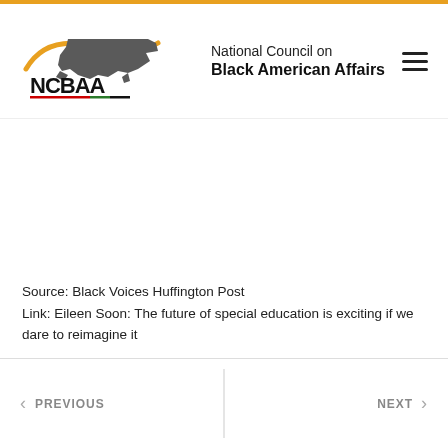[Figure (logo): NCBAA Western Region logo with map of USA silhouette, golden swoosh, and text 'National Council on Black American Affairs']
Source: Black Voices Huffington Post
Link: Eileen Soon: The future of special education is exciting if we dare to reimagine it
< PREVIOUS   NEXT >